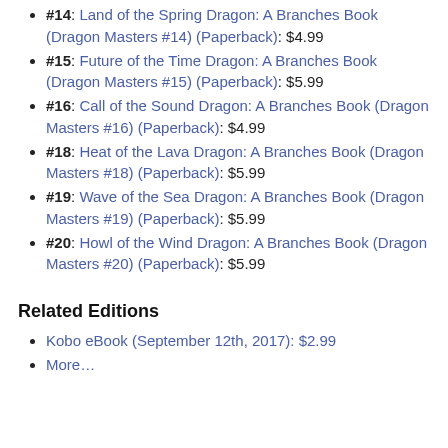#14: Land of the Spring Dragon: A Branches Book (Dragon Masters #14) (Paperback): $4.99
#15: Future of the Time Dragon: A Branches Book (Dragon Masters #15) (Paperback): $5.99
#16: Call of the Sound Dragon: A Branches Book (Dragon Masters #16) (Paperback): $4.99
#18: Heat of the Lava Dragon: A Branches Book (Dragon Masters #18) (Paperback): $5.99
#19: Wave of the Sea Dragon: A Branches Book (Dragon Masters #19) (Paperback): $5.99
#20: Howl of the Wind Dragon: A Branches Book (Dragon Masters #20) (Paperback): $5.99
Related Editions
Kobo eBook (September 12th, 2017): $2.99
More…